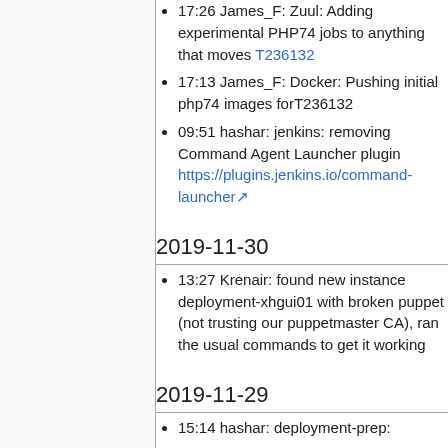17:26 James_F: Zuul: Adding experimental PHP74 jobs to anything that moves T236132
17:13 James_F: Docker: Pushing initial php74 images forT236132
09:51 hashar: jenkins: removing Command Agent Launcher plugin https://plugins.jenkins.io/command-launcher
2019-11-30
13:27 Krenair: found new instance deployment-xhgui01 with broken puppet (not trusting our puppetmaster CA), ran the usual commands to get it working
2019-11-29
15:14 hashar: deployment-prep: